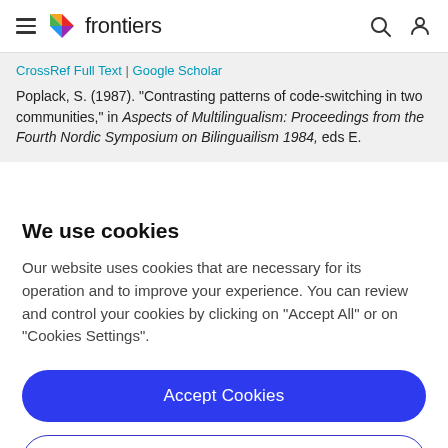frontiers
CrossRef Full Text | Google Scholar
Poplack, S. (1987). "Contrasting patterns of code-switching in two communities," in Aspects of Multilingualism: Proceedings from the Fourth Nordic Symposium on Bilinguailism 1984, eds E. ...
We use cookies
Our website uses cookies that are necessary for its operation and to improve your experience. You can review and control your cookies by clicking on "Accept All" or on "Cookies Settings".
Accept Cookies
Cookies Settings